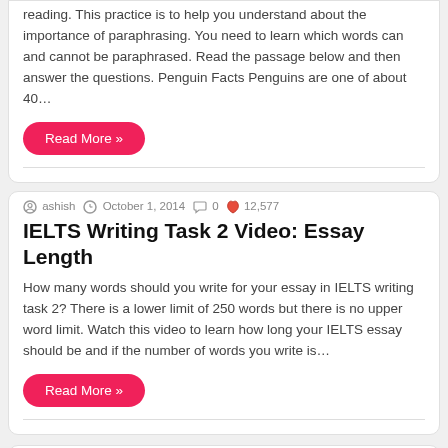reading. This practice is to help you understand about the importance of paraphrasing. You need to learn which words can and cannot be paraphrased. Read the passage below and then answer the questions. Penguin Facts Penguins are one of about 40…
Read More »
ashish  October 1, 2014  0  12,577
IELTS Writing Task 2 Video: Essay Length
How many words should you write for your essay in IELTS writing task 2? There is a lower limit of 250 words but there is no upper word limit. Watch this video to learn how long your IELTS essay should be and if the number of words you write is…
Read More »
Load More